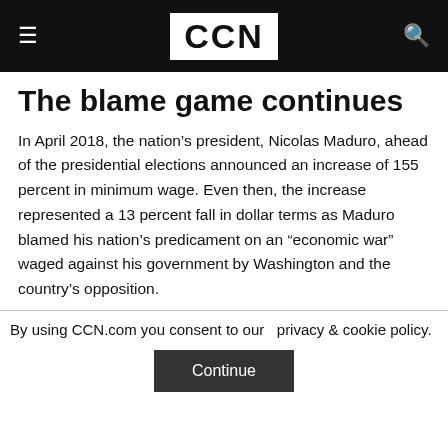CCN
The blame game continues
In April 2018, the nation's president, Nicolas Maduro, ahead of the presidential elections announced an increase of 155 percent in minimum wage. Even then, the increase represented a 13 percent fall in dollar terms as Maduro blamed his nation's predicament on an “economic war” waged against his government by Washington and the country's opposition.
By using CCN.com you consent to our  privacy & cookie policy.
Continue